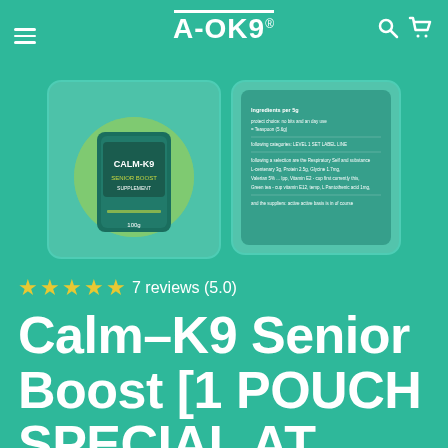[Figure (screenshot): A-OK9 website header with hamburger menu, A-OK9 logo, search and cart icons]
[Figure (photo): Two product images side by side: left is Calm-K9 product pouch on teal circular background, right is the product label/back of packaging]
★★★★★ 7 reviews (5.0)
Calm-K9 Senior Boost [1 POUCH SPECIAL AT 30% OFF]